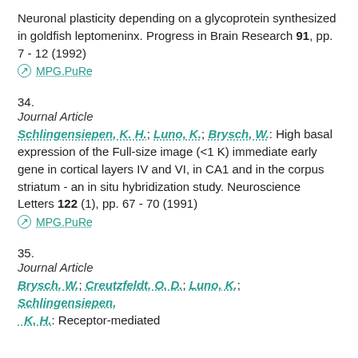Neuronal plasticity depending on a glycoprotein synthesized in goldfish leptomeninx. Progress in Brain Research 91, pp. 7 - 12 (1992)
MPG.PuRe
34.
Journal Article
Schlingensiepen, K. H.; Luno, K.; Brysch, W.: High basal expression of the Full-size image (<1 K) immediate early gene in cortical layers IV and VI, in CA1 and in the corpus striatum - an in situ hybridization study. Neuroscience Letters 122 (1), pp. 67 - 70 (1991)
MPG.PuRe
35.
Journal Article
Brysch, W.; Creutzfeldt, O. D.; Luno, K.; Schlingensiepen, K. H.: